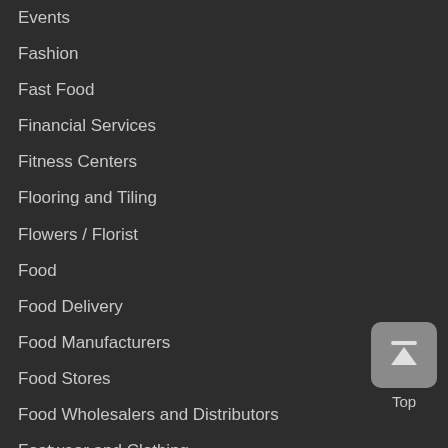Events
Fashion
Fast Food
Financial Services
Fitness Centers
Flooring and Tiling
Flowers / Florist
Food
Food Delivery
Food Manufacturers
Food Stores
Food Wholesalers and Distributors
Footwear and Clothing
Funerals
Furniture and Decor
Gadgets and Accessories
[Figure (other): Back to top button with upward arrow icon and 'Top' label]